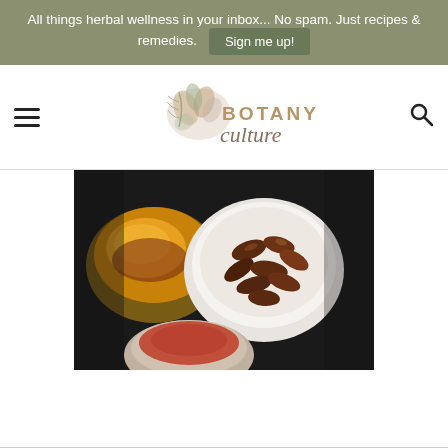All things herbal wellness in your inbox... No spam. Just recipes & remedies. Sign me up!
[Figure (logo): Botany Culture logo with floral illustration, text reading BOTANY culture]
[Figure (photo): Overhead photo of spices - a bowl of pecans/walnuts, a copper dish with turmeric powder, and a small bowl with dark reddish-brown spice powder on a dark background]